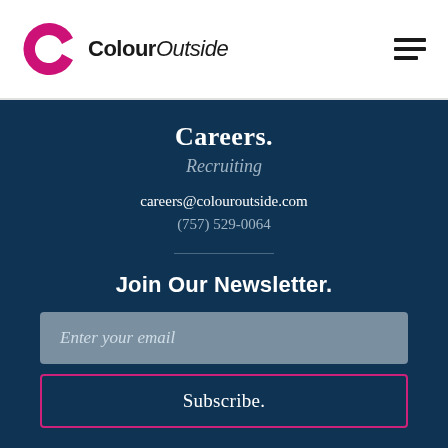ColourOutside
Careers.
Recruiting
careers@colouroutside.com
(757) 529-0064
Join Our Newsletter.
Enter your email
Subscribe.